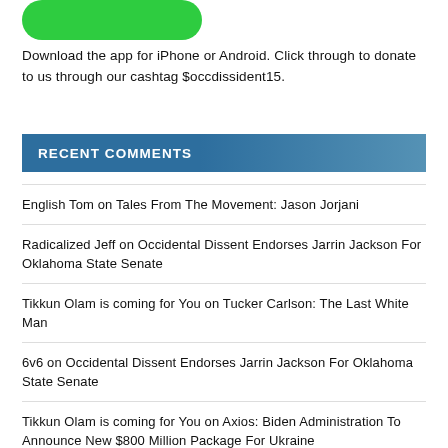[Figure (logo): Green rounded rectangle logo button at top]
Download the app for iPhone or Android. Click through to donate to us through our cashtag $occdissident15.
RECENT COMMENTS
English Tom on Tales From The Movement: Jason Jorjani
Radicalized Jeff on Occidental Dissent Endorses Jarrin Jackson For Oklahoma State Senate
Tikkun Olam is coming for You on Tucker Carlson: The Last White Man
6v6 on Occidental Dissent Endorses Jarrin Jackson For Oklahoma State Senate
Tikkun Olam is coming for You on Axios: Biden Administration To Announce New $800 Million Package For Ukraine
Tikkun Olam is coming for You on Occidental Dissent Endorses Jarrin Jackson For Oklahoma State Senate